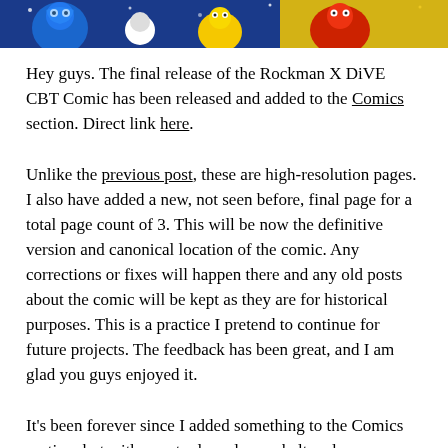[Figure (illustration): Colorful comic banner image featuring animated characters from Rockman X DiVE against a blue and yellow background]
Hey guys. The final release of the Rockman X DiVE CBT Comic has been released and added to the Comics section. Direct link here.
Unlike the previous post, these are high-resolution pages. I also have added a new, not seen before, final page for a total page count of 3. This will be now the definitive version and canonical location of the comic. Any corrections or fixes will happen there and any old posts about the comic will be kept as they are for historical purposes. This is a practice I pretend to continue for future projects. The feedback has been great, and I am glad you guys enjoyed it.
It's been forever since I added something to the Comics section, but with new tools under my belt and more experience, it was about time I set out to do some improvements. Nothing too drastic for now, but I want to share what changes are coming dis...